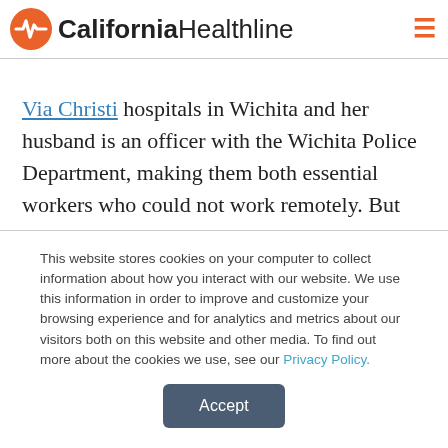California Healthline
Via Christi hospitals in Wichita and her husband is an officer with the Wichita Police Department, making them both essential workers who could not work remotely. But they have a 2-year-old and a kindergartner.

The hospital system where she works came to the
This website stores cookies on your computer to collect information about how you interact with our website. We use this information in order to improve and customize your browsing experience and for analytics and metrics about our visitors both on this website and other media. To find out more about the cookies we use, see our Privacy Policy.
Accept